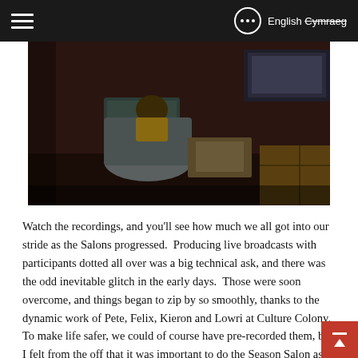English Cymraeg
[Figure (photo): Dark atmospheric indoor scene — person seated at desk or table with a laptop, warm dim lighting, dark walls, appears to be a creative workspace or salon setting.]
Watch the recordings, and you'll see how much we all got into our stride as the Salons progressed.  Producing live broadcasts with participants dotted all over was a big technical ask, and there was the odd inevitable glitch in the early days.  Those were soon overcome, and things began to zip by so smoothly, thanks to the dynamic work of Pete, Felix, Kieron and Lowri at Culture Colony.  To make life safer, we could of course have pre-recorded them, but I felt from the off that it was important to do the Season Salon as a live happening, because that would give it a particular energy.
I believe it did, and I enjoyed having to think on my feet and follow conversations where they chose to go, rather than try and dicta from behind a stopwatch and clipboard.  Having only ever done live broadcasting on TV and radio, where there's always a producer